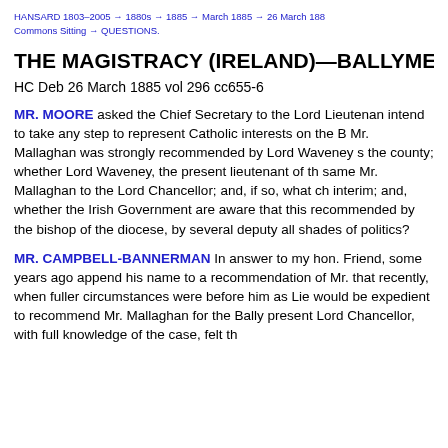HANSARD 1803–2005 → 1880s → 1885 → March 1885 → 26 March 1885 Commons Sitting → QUESTIONS.
THE MAGISTRACY (IRELAND)—BALLYMENA—MR.
HC Deb 26 March 1885 vol 296 cc655-6
MR. MOORE asked the Chief Secretary to the Lord Lieutenant intend to take any step to represent Catholic interests on the B Mr. Mallaghan was strongly recommended by Lord Waveney s the county; whether Lord Waveney, the present lieutenant of th same Mr. Mallaghan to the Lord Chancellor; and, if so, what ch interim; and, whether the Irish Government are aware that this recommended by the bishop of the diocese, by several deputy all shades of politics?
MR. CAMPBELL-BANNERMAN In answer to my hon. Friend, some years ago append his name to a recommendation of Mr. that recently, when fuller circumstances were before him as Lie would be expedient to recommend Mr. Mallaghan for the Bally present Lord Chancellor, with full knowledge of the case, felt th